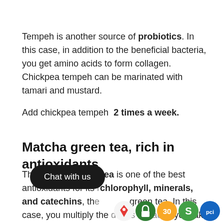Tempeh is another source of probiotics. In this case, in addition to the beneficial bacteria, you get amino acids to form collagen. Chickpea tempeh can be marinated with tamari and mustard.
Add chickpea tempeh  2 times a week.
Matcha green tea, rich in antioxidants
The matcha green tea is one of the best antioxidants for its chlorophyll, minerals, and catechins, the green tea. In this case, you multiply the doses because you take the leaves more powder form.